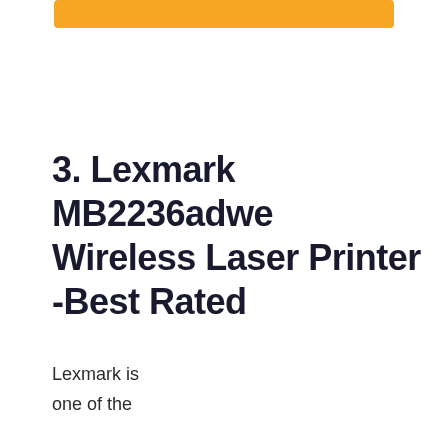[Figure (other): Orange rounded rectangle button/bar at top of page]
3. Lexmark MB2236adwe Wireless Laser Printer -Best Rated
Lexmark is one of the most reputed brands, and that is for some